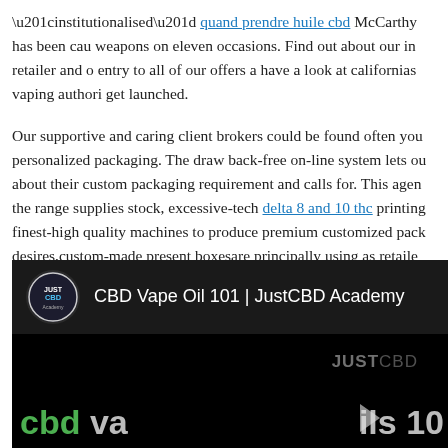“institutionalised” quand prendre huile cbd McCarthy has been cau weapons on eleven occasions. Find out about our in retailer and o entry to all of our offers a have a look at californias vaping authori get launched.

Our supportive and caring client brokers could be found often you personalized packaging. The draw back-free on-line system lets ou about their custom packaging requirement and calls for. This agen the range supplies stock, excessive-tech delta 8 and 10 thc printing finest-high quality machines to produce premium customized pack desires,custom-made present boxesare principally using as retaile merchandise.BUY Packaging Boxesprovidescustom retail wholesale
[Figure (screenshot): YouTube-style video embed showing 'CBD Vape Oil 101 | JustCBD Academy' with JustCBD logo, black background, JUSTCBD watermark, and partial text 'cbd va ils 10' with play button]